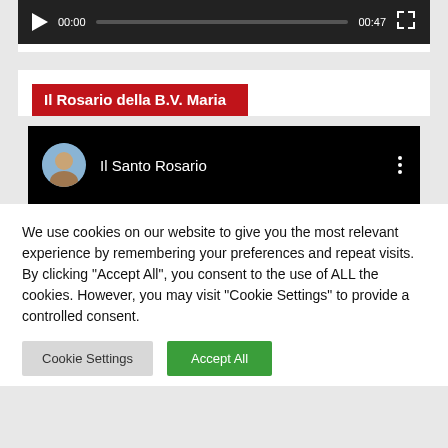[Figure (screenshot): Video player with dark background, play button, time 00:00, progress bar, end time 00:47, and fullscreen icon]
Il Rosario della B.V. Maria
[Figure (screenshot): YouTube embed showing channel avatar and name 'Il Santo Rosario' with three-dot menu icon on black background]
We use cookies on our website to give you the most relevant experience by remembering your preferences and repeat visits. By clicking "Accept All", you consent to the use of ALL the cookies. However, you may visit "Cookie Settings" to provide a controlled consent.
Cookie Settings
Accept All